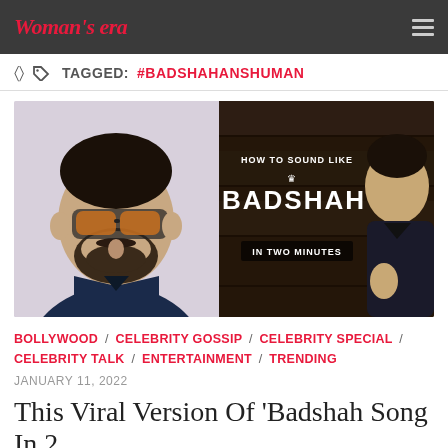Woman's era
TAGGED: #BADSHAHANSHUMAN
[Figure (photo): Left: A man with orange-tinted large sunglasses and beard wearing a dark denim jacket against a light background. Right: A YouTube-style thumbnail with dark background, text 'HOW TO SOUND LIKE BADSHAH IN TWO MINUTES' with a younger man on the right side.]
BOLLYWOOD / CELEBRITY GOSSIP / CELEBRITY SPECIAL / CELEBRITY TALK / ENTERTAINMENT / TRENDING
JANUARY 11, 2022
This Viral Version Of 'Badshah Song In 2